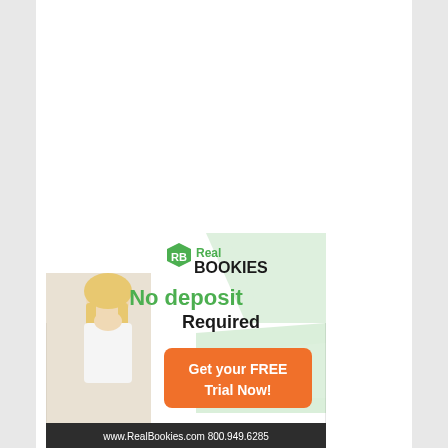[Figure (illustration): Advertisement for RealBookies.com showing a blonde woman in white shirt with text 'Real BOOKIES', 'No deposit Required', 'Get your FREE Trial Now!' button in orange, green diagonal stripe design elements, and footer with 'www.RealBookies.com  800.949.6285']